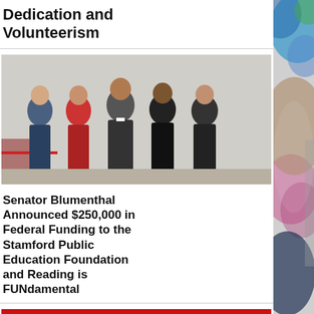Dedication and Volunteerism
[Figure (photo): Group photo of five people standing together in formal attire in an indoor setting with a red rope barrier in the background.]
Senator Blumenthal Announced $250,000 in Federal Funding to the Stamford Public Education Foundation and Reading is FUNdamental
[Figure (photo): Close-up photo of a red gas pump nozzle inserted into a vehicle.]
GasBuddy: Average gas prices in Connecticut fell 14.9 cents per gallon
[Figure (photo): Blurred bokeh photo on the right side of the page showing colorful out-of-focus lights and a partial figure.]